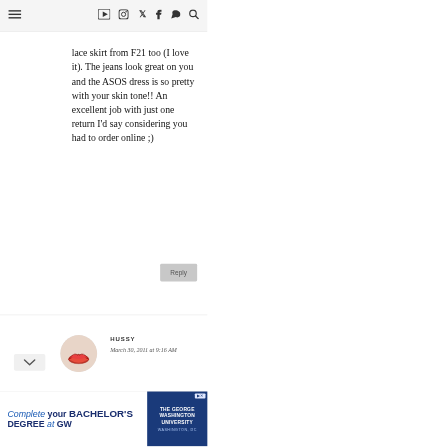≡  ▶  📷  🐦  f  ♥  🔍
lace skirt from F21 too (I love it). The jeans look great on you and the ASOS dress is so pretty with your skin tone!! An excellent job with just one return I'd say considering you had to order online ;)
Reply
[Figure (photo): Circular avatar image showing red lips close-up]
HUSSY
March 30, 2011 at 9:16 AM
[Figure (infographic): Advertisement banner: Complete your BACHELOR'S DEGREE at GW — The George Washington University, Washington, DC]